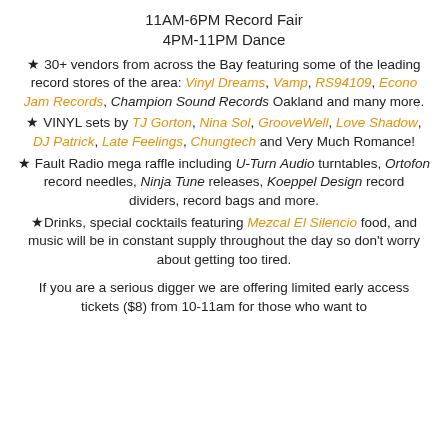11AM-6PM Record Fair
4PM-11PM Dance
★ 30+ vendors from across the Bay featuring some of the leading record stores of the area: Vinyl Dreams, Vamp, RS94109, Econo Jam Records, Champion Sound Records Oakland and many more.
★ VINYL sets by TJ Gorton, Nina Sol, GrooveWell, Love Shadow, DJ Patrick, Late Feelings, Chungtech and Very Much Romance!
★ Fault Radio mega raffle including U-Turn Audio turntables, Ortofon record needles, Ninja Tune releases, Koeppel Design record dividers, record bags and more.
★Drinks, special cocktails featuring Mezcal El Silencio food, and music will be in constant supply throughout the day so don't worry about getting too tired.
If you are a serious digger we are offering limited early access tickets ($8) from 10-11am for those who want to …